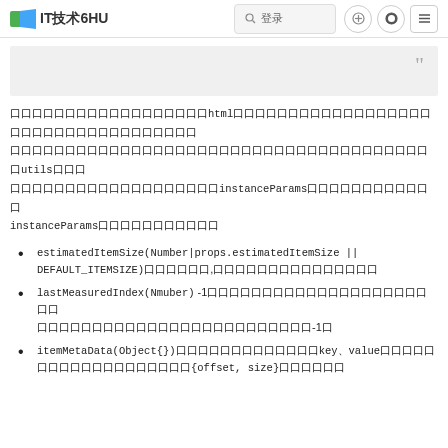IT技术6HU
（缩略）…html…（缩略）…utils…instanceParams…instanceParams（缩略）
estimatedItemSize(Number|props.estimatedItemSize || DEFAULT_ITEMSIZE)（缩略）,（缩略）
lastMeasuredIndex(Nmuber) -1（缩略）-1。
itemMetaData(Object{})（缩略）key、value（缩略）{offset, size}（缩略）